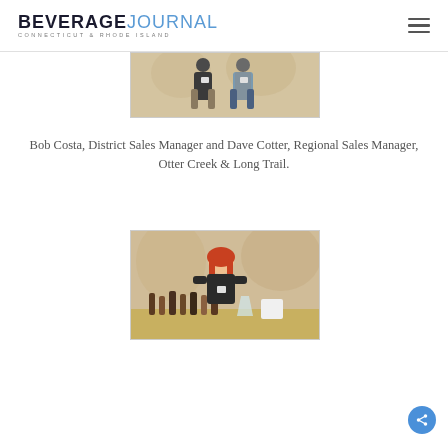BEVERAGE JOURNAL Connecticut & Rhode Island
[Figure (photo): Two people standing side by side at an event, one wearing a dark t-shirt with a badge, the other in a light blue shirt and gray vest, against a patterned wallpaper background.]
Bob Costa, District Sales Manager and Dave Cotter, Regional Sales Manager, Otter Creek & Long Trail.
[Figure (photo): A woman with long red hair wearing a black t-shirt stands behind a table filled with various beer bottles and a glass, at what appears to be a tasting event.]